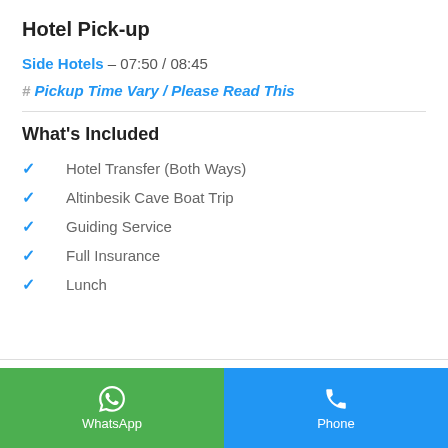Hotel Pick-up
Side Hotels – 07:50 / 08:45
# Pickup Time Vary / Please Read This
What's Included
Hotel Transfer (Both Ways)
Altinbesik Cave Boat Trip
Guiding Service
Full Insurance
Lunch
WhatsApp | Phone